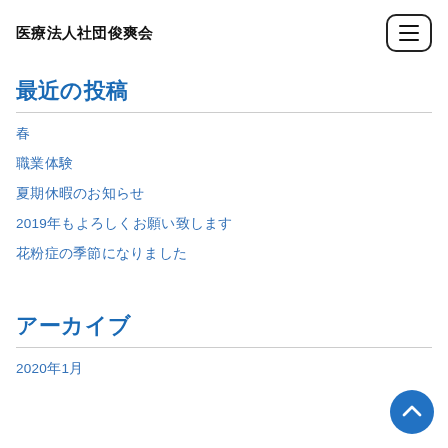医療法人社団俊爽会
最近の投稿
春
職業体験
夏期休暇のお知らせ
2019年もよろしくお願い致します
花粉症の季節になりました
アーカイブ
2020年1月